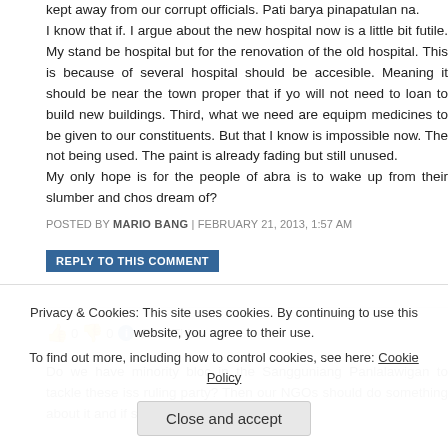kept away from our corrupt officials. Pati barya pinapatulan na. I know that if. I argue about the new hospital now is a little bit futile. My stand be hospital but for the renovation of the old hospital. This is because of several hospital should be accesible. Meaning it should be near the town proper that if yo will not need to loan to build new buildings. Third, what we need are equipm medicines to be given to our constituents. But that I know is impossible now. The not being used. The paint is already fading but still unused. My only hope is for the people of abra is to wake up from their slumber and chos dream of?
POSTED BY MARIO BANG | FEBRUARY 21, 2013, 1:57 AM
REPLY TO THIS COMMENT
👍 0 👎 0 ℹ Rate This
Do we have minority bloc in the Sangguniang Panlalawigan to tackle these iss ruling party? Then our NGOs should do something about it and if still nothing
Privacy & Cookies: This site uses cookies. By continuing to use this website, you agree to their use. To find out more, including how to control cookies, see here: Cookie Policy
Close and accept